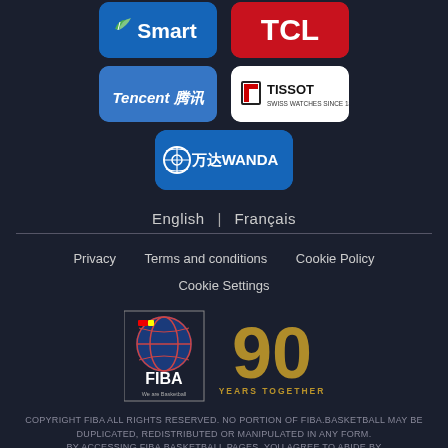[Figure (logo): Smart logo - blue rounded rectangle with green/white leaf icon and 'Smart' text]
[Figure (logo): TCL logo - red rounded rectangle with white 'TCL' text]
[Figure (logo): Tencent 腾讯 logo - blue rounded rectangle with white text]
[Figure (logo): Tissot Swiss Watches Since 1853 logo - white rounded rectangle with black text]
[Figure (logo): Wanda 万达WANDA logo - blue rounded rectangle with white text and circle icon]
English | Français
Privacy   Terms and conditions   Cookie Policy   Cookie Settings
[Figure (logo): FIBA 90 Years Together logo - basketball globe icon with FIBA text and golden 90 numeral]
COPYRIGHT FIBA ALL RIGHTS RESERVED. NO PORTION OF FIBA.BASKETBALL MAY BE DUPLICATED, REDISTRIBUTED OR MANIPULATED IN ANY FORM. BY ACCESSING FIBA.BASKETBALL PAGES, YOU AGREE TO ABIDE BY FIBA.BASKETBALL TERMS AND CONDITIONS